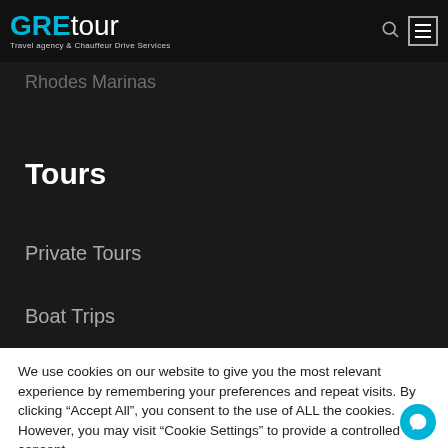GREtour - Travel agency & Chauffeur Drive Services
Rhodes Marinas
Tours
Private Tours
Boat Trips
We use cookies on our website to give you the most relevant experience by remembering your preferences and repeat visits. By clicking "Accept All", you consent to the use of ALL the cookies. However, you may visit "Cookie Settings" to provide a controlled consent.
Cookie Settings | Accept All